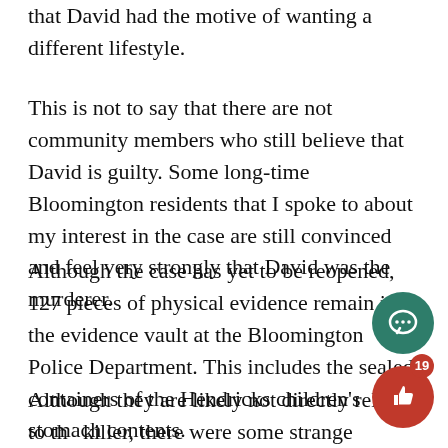that David had the motive of wanting a different lifestyle.
This is not to say that there are not community members who still believe that David is guilty. Some long-time Bloomington residents that I spoke to about my interest in the case are still convinced and feel very strongly that David was the murderer.
Although the case has yet to be reopened, 127 pieces of physical evidence remain in the evidence vault at the Bloomington Police Department. This includes the sealed containers of the Hendricks children's stomach contents.
Although they are likely not directly related to the killer, there were some strange happenings with the models who testified at the trial. One of them went to purchase the home where the murders took pla...